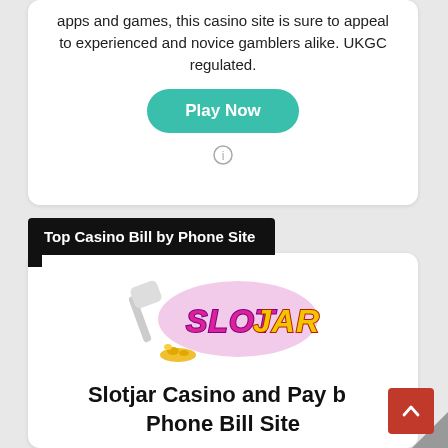apps and games, this casino site is sure to appeal to experienced and novice gamblers alike. UKGC regulated.
Play Now
Top Casino Bill by Phone Site
[Figure (logo): Slot Jar casino logo — colorful graffiti-style text reading SLOT JAR with paint roller and coins]
Slotjar Casino and Pay by Phone Bill Site